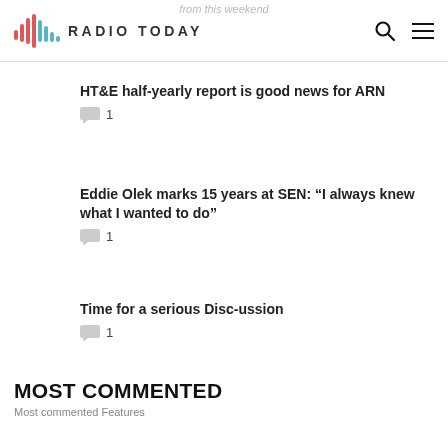Radio Today
from this weekend
HT&E half-yearly report is good news for ARN
1
Eddie Olek marks 15 years at SEN: “I always knew what I wanted to do”
1
Time for a serious Disc-ussion
1
MOST COMMENTED
Most commented Features